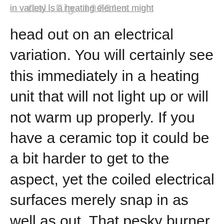in variety is a heating element might Call Fig. 19291 s
head out on an electrical variation. You will certainly see this immediately in a heating unit that will not light up or will not warm up properly. If you have a ceramic top it could be a bit harder to get to the aspect, yet the coiled electrical surfaces merely snap in as well as out. That pesky burner that appears to always provide you problem can be a distant memory in merely a pair minutes.The burner might go out in the warming drawer or the oven part also.